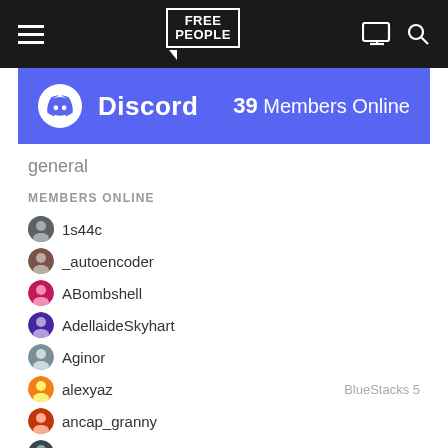[Figure (screenshot): Free People website top navigation bar with hamburger menu, Free People logo, monitor icon, and search icon on dark background]
[Figure (screenshot): Discord widget banner showing Discord logo and '39 Members Online' on purple/indigo background]
general
MEMBERS ONLINE
1s44c
_autoencoder
ABombshell
AdellaideSkyhart
Aginor
alexyaz
ancap_granny
AngelofBeth
Bill B
CaucasianDave
cavemnkey
Chad g.